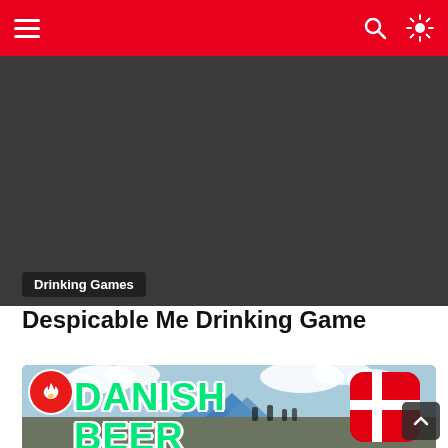Navigation bar with hamburger menu, search icon, and brightness icon
[Figure (photo): Dark gray hero image placeholder for Despicable Me Drinking Game article]
Drinking Games
Despicable Me Drinking Game
[Figure (photo): Outdoor festival scene with tents and people, overlaid with green bold text 'DANISH BEER' and a Danish flag icon in the top right corner, plus a red fire badge icon in the top left]